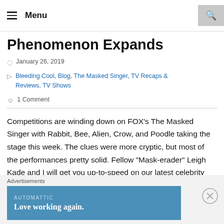Menu
Phenomenon Expands
January 26, 2019
Bleeding Cool, Blog, The Masked Singer, TV Recaps & Reviews, TV Shows
1 Comment
Competitions are winding down on FOX’s The Masked Singer with Rabbit, Bee, Alien, Crow, and Poodle taking the stage this week. The clues were more cryptic, but most of the performances pretty solid. Fellow “Mask-erader” Leigh Kade and I will get you up-to-speed on our latest celebrity guesses
[Figure (other): Advertisement banner: Automattic - Love working again.]